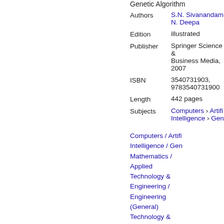Genetic Algorithm
| Field | Value |
| --- | --- |
| Authors | S.N. Sivanandam, N. Deepa |
| Edition | illustrated |
| Publisher | Springer Science & Business Media, 2007 |
| ISBN | 3540731903, 9783540731900 |
| Length | 442 pages |
| Subjects | Computers › Artificial Intelligence › General

Computers / Artificial Intelligence / General
Mathematics / Applied
Technology & Engineering / Engineering (General)
Technology & Engineering / |